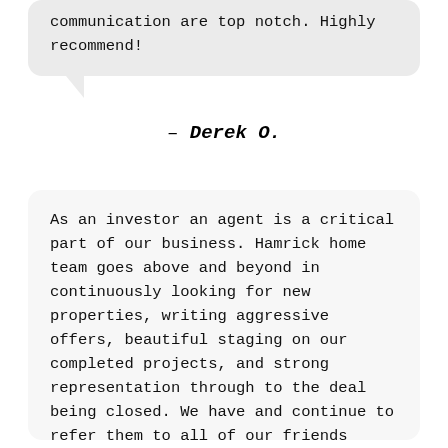communication are top notch. Highly recommend!
– Derek O.
As an investor an agent is a critical part of our business. Hamrick home team goes above and beyond in continuously looking for new properties, writing aggressive offers, beautiful staging on our completed projects, and strong representation through to the deal being closed. We have and continue to refer them to all of our friends looking to buy and sell homes and have never been disappointed. Wether your an investor looking to buy or sell, or a home owner looking to buy or sell, we highly recommend Hamrick Home Team.